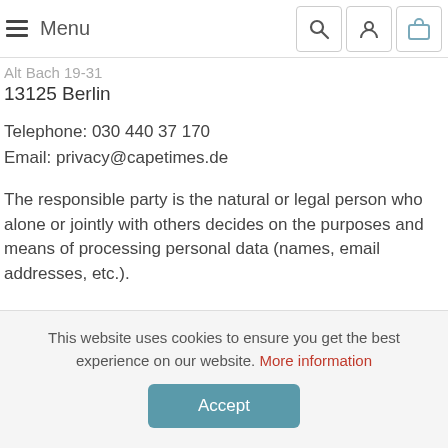Menu [navigation icons: search, user, cart]
Alt Bach 19-31
13125 Berlin
Telephone: 030 440 37 170
Email: privacy@capetimes.de
The responsible party is the natural or legal person who alone or jointly with others decides on the purposes and means of processing personal data (names, email addresses, etc.).
Revocation of your consent to the processing of your
This website uses cookies to ensure you get the best experience on our website. More information
Accept